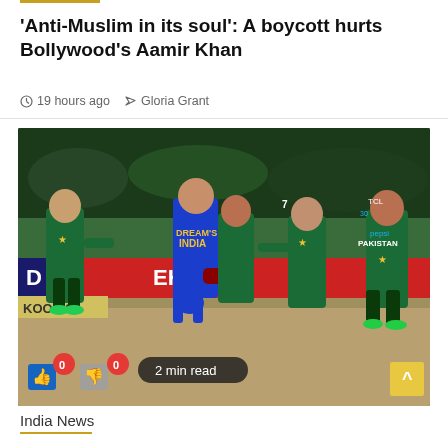'Anti-Muslim in its soul': A boycott hurts Bollywood's Aamir Khan
19 hours ago   Gloria Grant
[Figure (photo): Cricket players in green Pakistan uniforms shaking hands with a player in blue India uniform on a cricket field after a match. Advertising boards visible in background.]
2 min read
India News